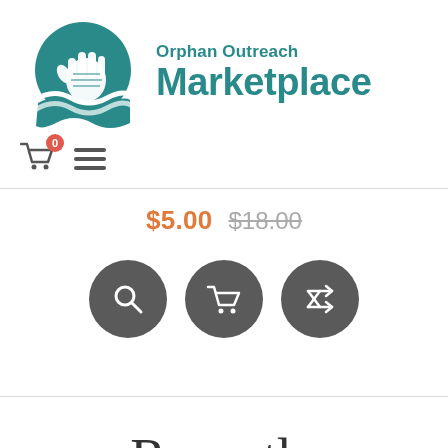[Figure (logo): Orphan Outreach Marketplace logo: teal circle with two hands and wave design, with text 'Orphan Outreach Marketplace' in teal to the right]
[Figure (infographic): Navigation bar with shopping cart icon (badge showing 0) and hamburger menu icon]
$5.00  $18.00
[Figure (infographic): Three dark gray circular action buttons: search (magnifying glass), add to cart (shopping cart), and compare/shuffle icon]
Recently